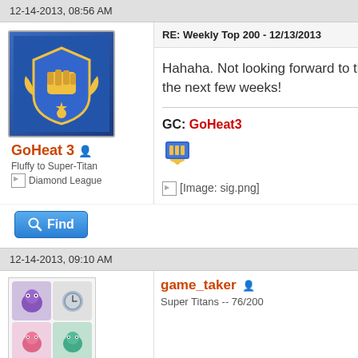12-14-2013, 08:56 AM
GoHeat 3
Fluffy to Super-Titan
Diamond League
RE: Weekly Top 200 - 12/13/2013
Hahaha. Not looking forward to the drop in the next few weeks!
GC: GoHeat3
[Image: sig.png]
12-14-2013, 09:10 AM
game_taker
Super Titans -- 76/200